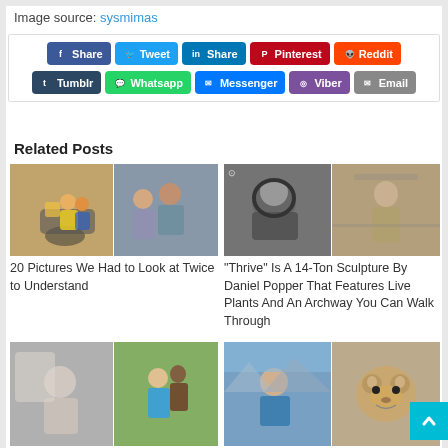Image source: sysmimas
[Figure (infographic): Social sharing buttons: Share (Facebook), Tweet (Twitter), Share (LinkedIn), Pinterest, Reddit, Tumblr, Whatsapp, Messenger, Viber, Email]
Related Posts
[Figure (photo): Two collaged photos: people on a motorcycle and a couple posing]
20 Pictures We Had to Look at Twice to Understand
[Figure (photo): Two collaged photos: large stone lion sculpture and another sculpture indoors]
“Thrive” Is A 14-Ton Sculpture By Daniel Popper That Features Live Plants And An Archway You Can Walk Through
[Figure (photo): Two collaged photos: statue selfie and child with sculpture]
[Figure (photo): Two collaged photos: person outdoors selfie and quokka close-up]